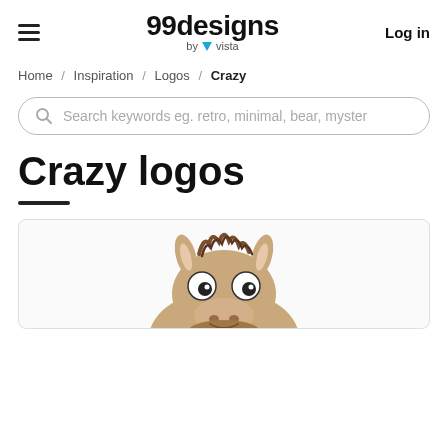99designs by vista — Log in
Home / Inspiration / Logos / Crazy
Search keywords eg. retro, minimal, bear, myster
Crazy logos
[Figure (illustration): Partial cartoon illustration of a crazy-looking donkey character with wide eyes, messy brown fur, and exaggerated expression, shown from roughly the neck up, cut off at the bottom of the page.]